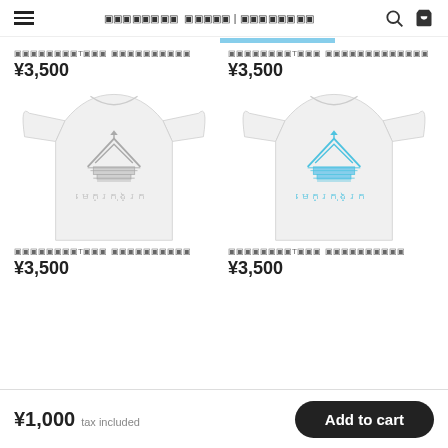☰  ▣▣▣▣▣▣▣▣  ▣▣▣▣▣ | ▣▣▣▣▣▣▣▣  🔍  🛒
▣▣▣▣▣▣▣▣T▣▣▣  ▣▣▣▣▣▣▣▣▣▣  ¥3,500
▣▣▣▣▣▣▣▣T▣▣▣  ▣▣▣▣▣▣▣▣▣▣▣▣▣  ¥3,500
[Figure (photo): White t-shirt with gray Cambodian temple logo and Khmer script]
[Figure (photo): White t-shirt with blue Cambodian temple logo and Khmer script]
▣▣▣▣▣▣▣▣T▣▣▣  ▣▣▣▣▣▣▣▣▣▣  ¥3,500
▣▣▣▣▣▣▣▣T▣▣▣  ▣▣▣▣▣▣▣▣▣▣  ¥3,500
¥1,000 tax included   Add to cart